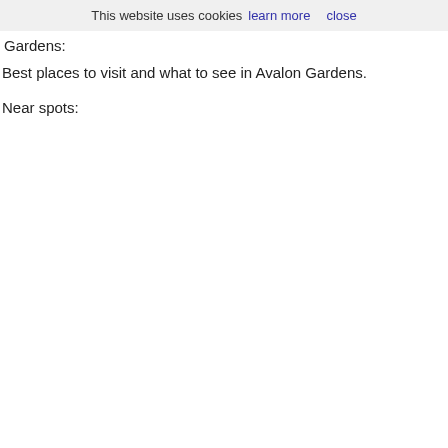This website uses cookies  learn more  close
Gardens:
Best places to visit and what to see in Avalon Gardens.
Near spots: